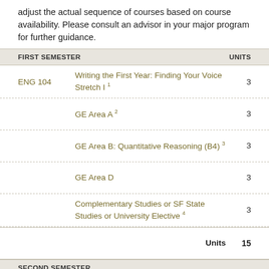adjust the actual sequence of courses based on course availability. Please consult an advisor in your major program for further guidance.
| FIRST SEMESTER |  | UNITS |
| --- | --- | --- |
| ENG 104 | Writing the First Year: Finding Your Voice Stretch I 1 | 3 |
| GE Area A 2 |  | 3 |
| GE Area B: Quantitative Reasoning (B4) 3 |  | 3 |
| GE Area D |  | 3 |
| Complementary Studies or SF State Studies or University Elective 4 |  | 3 |
|  | Units | 15 |
| SECOND SEMESTER |  |  |
| ENG 105 | Writing the First Year: Finding Your Voice Stretch II (A2) 1 | 3 |
| Introductory Core Course 5 |  | 3 |